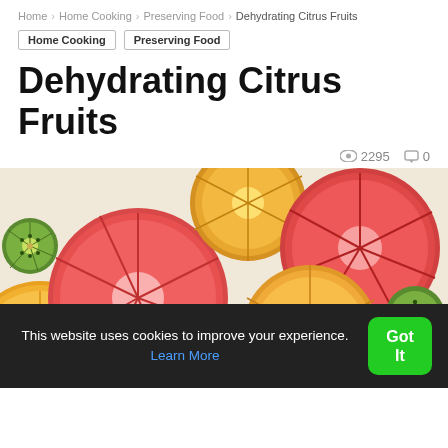Home › Home Cooking › Preserving Food › Dehydrating Citrus Fruits
Home Cooking   Preserving Food
Dehydrating Citrus Fruits
👁 2295  💬 0
[Figure (photo): Colorful dehydrated citrus fruit slices including oranges, grapefruits, and kiwis arranged on a white background]
This website uses cookies to improve your experience. Learn More   Got It